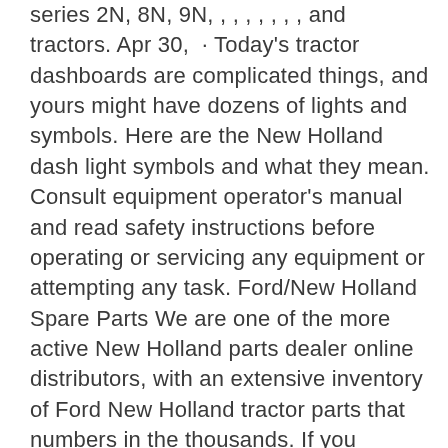series 2N, 8N, 9N, , , , , , , , and tractors. Apr 30,  · Today's tractor dashboards are complicated things, and yours might have dozens of lights and symbols. Here are the New Holland dash light symbols and what they mean. Consult equipment operator's manual and read safety instructions before operating or servicing any equipment or attempting any task. Ford/New Holland Spare Parts We are one of the more active New Holland parts dealer online distributors, with an extensive inventory of Ford New Holland tractor parts that numbers in the thousands. If you require replacement New Holland agriculture parts, there's a very good likelihood that we've got exactly what you need at a fair price. Equipment operators and owners manuals are in instant download form. No waiting to receive a paper tractor manual in the mail. Sort by. Featured, Best Selling. Get the best deals on New Holland Heavy Equipment Manuals